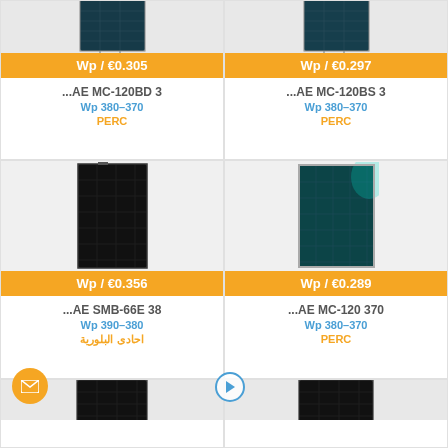[Figure (photo): Solar panel product card - AE MC-120BD 3, price Wp/€0.305, Wp 380-370, PERC]
[Figure (photo): Solar panel product card - AE MC-120BS 3, price Wp/€0.297, Wp 380-370, PERC]
[Figure (photo): Solar panel product card - AE SMB-66E 38, price Wp/€0.356, Wp 390-380, احادى البلورية]
[Figure (photo): Solar panel product card - AE MC-120 370, price Wp/€0.289, Wp 380-370, PERC]
[Figure (photo): Partially visible solar panel product cards at bottom of page]